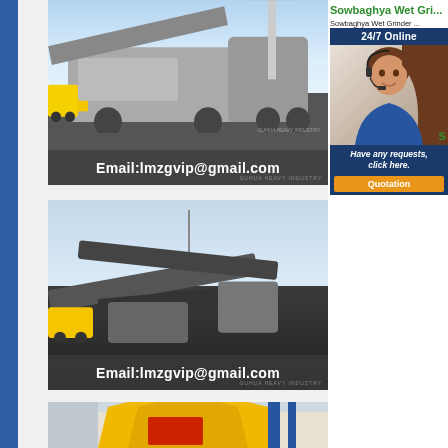[Figure (photo): Industrial heavy machinery / mobile crusher plant with blue sky background; email overlay reads Email:lmzgvip@gmail.com]
[Figure (photo): Industrial conveyor belt and crushing equipment in an open pit/quarry setting; email overlay reads Email:lmzgvip@gmail.com]
[Figure (photo): Yellow and red industrial screening/vibrating machine in a factory setting]
Sowbaghya Wet Gri...
Sowbaghya Wet Grinder ... Grinder price list in India,...
[Figure (infographic): 24/7 Online chat widget with woman wearing headset, 'Have any requests, click here.' button and orange Quotation button]
...sowbagya grinder...pr... in chennai sowbhagya gr... manufacturer of crushing...
Domestic Wet Grind...
Domestic Wet Grinders ... Grinders that for commer...